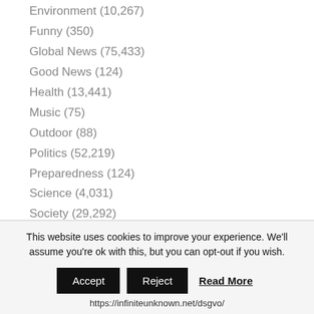Environment (10,267)
Funny (350)
Global News (75,433)
Good News (124)
Health (13,441)
Music (75)
Outdoor (88)
Politics (52,219)
Preparedness (124)
Science (4,031)
Society (29,292)
Technology (3,028)
Uncategorized (780)
Unlimited (40)
This website uses cookies to improve your experience. We'll assume you're ok with this, but you can opt-out if you wish.
Accept | Reject | Read More
https://infiniteunknown.net/dsgvo/